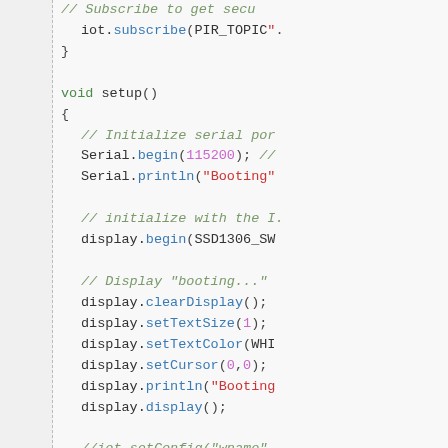// Subscribe to get secu
    iot.subscribe(PIR_TOPIC".
}

void setup()
{
    // Initialize serial por
    Serial.begin(115200); //
    Serial.println("Booting"

    // initialize with the I.
    display.begin(SSD1306_SW

    // Display "booting..." 
    display.clearDisplay();
    display.setTextSize(1);
    display.setTextColor(WHI
    display.setCursor(0,0);
    display.println("Booting
    display.display();

    //iot.setConfig("wname",
    //iot.setConfig("wpass",
    iot.printConfig(); //